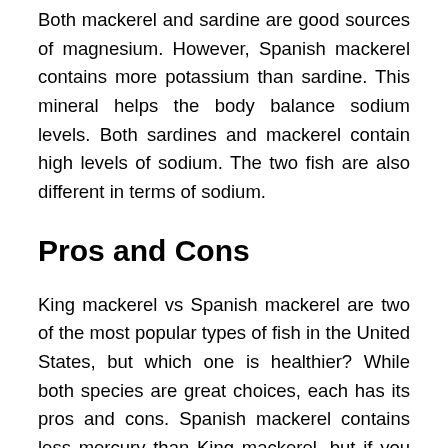Both mackerel and sardine are good sources of magnesium. However, Spanish mackerel contains more potassium than sardine. This mineral helps the body balance sodium levels. Both sardines and mackerel contain high levels of sodium. The two fish are also different in terms of sodium.
Pros and Cons
King mackerel vs Spanish mackerel are two of the most popular types of fish in the United States, but which one is healthier? While both species are great choices, each has its pros and cons. Spanish mackerel contains less mercury than King mackerel, but if you are pregnant or have young children, you should still consult your doctor before consuming either type